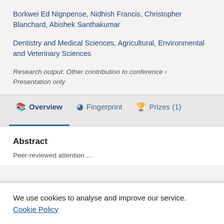Borkwei Ed Nignpense, Nidhish Francis, Christopher Blanchard, Abishek Santhakumar
Dentistry and Medical Sciences, Agricultural, Environmental and Veterinary Sciences
Research output: Other contribution to conference › Presentation only
Overview   Fingerprint   Prizes (1)
Abstract
We use cookies to analyse and improve our service. Cookie Policy